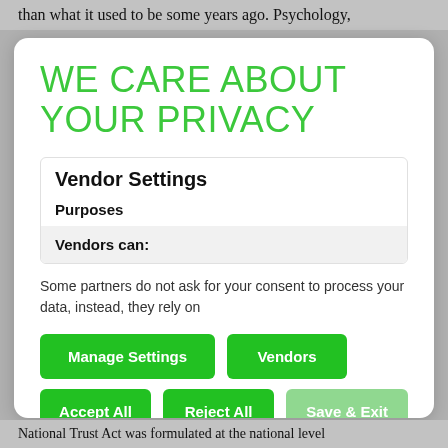than what it used to be some years ago. Psychology,
WE CARE ABOUT YOUR PRIVACY
Vendor Settings
Purposes
Vendors can:
Some partners do not ask for your consent to process your data, instead, they rely on
Manage Settings | Vendors | Accept All | Reject All | Save & Exit
National Trust Act was formulated at the national level